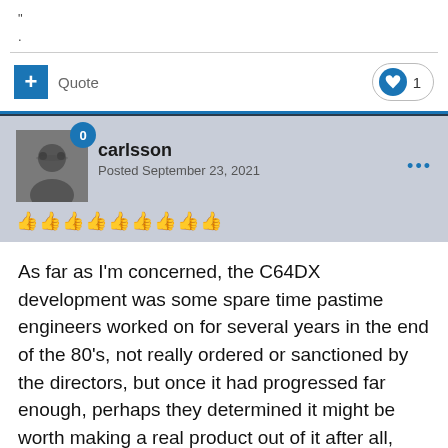" .
Quote  ♥ 1
[Figure (photo): User avatar photo of carlsson showing a person with glasses]
carlsson
Posted September 23, 2021
As far as I'm concerned, the C64DX development was some spare time pastime engineers worked on for several years in the end of the 80's, not really ordered or sanctioned by the directors, but once it had progressed far enough, perhaps they determined it might be worth making a real product out of it after all, perhaps to counter behemoths like the Amstrad CPC 6128+.